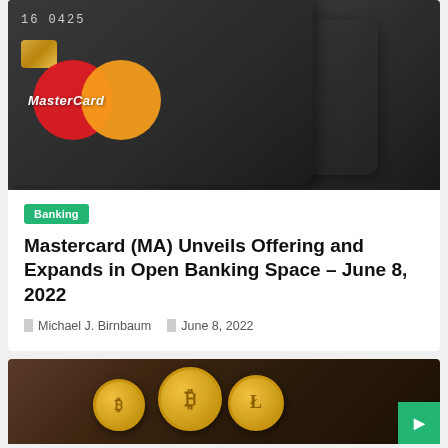[Figure (photo): Close-up photo of Mastercard credit cards with logo visible, dark metallic background]
Banking
Mastercard (MA) Unveils Offering and Expands in Open Banking Space – June 8, 2022
Michael J. Birnbaum   June 8, 2022
[Figure (photo): Photo of gold Bitcoin and cryptocurrency coins on dark background]